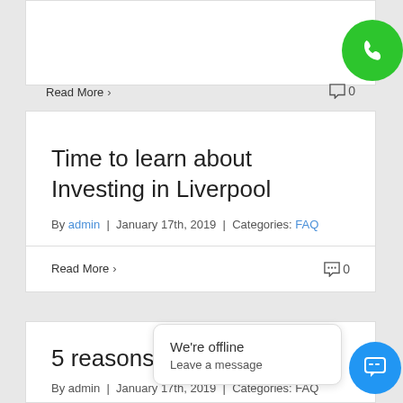Read More >
[Figure (illustration): Green circle phone call button icon]
Time to learn about Investing in Liverpool
By admin | January 17th, 2019 | Categories: FAQ
Read More >
5 reasons to
By admin | January 17th, 2019 | Categories: FAQ
[Figure (screenshot): We're offline chat widget popup with Leave a message text]
[Figure (illustration): Blue circle chat/message button icon]